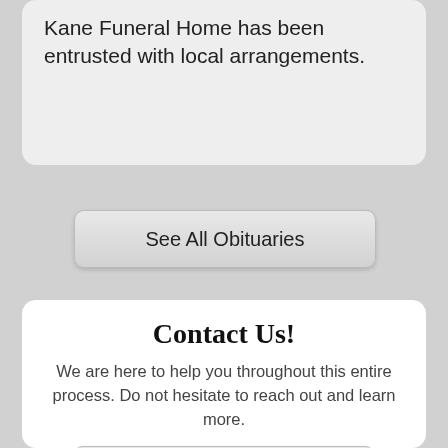Kane Funeral Home has been entrusted with local arrangements.
See All Obituaries
Contact Us!
We are here to help you throughout this entire process. Do not hesitate to reach out and learn more.
Call Us Now - (307) 672-5837